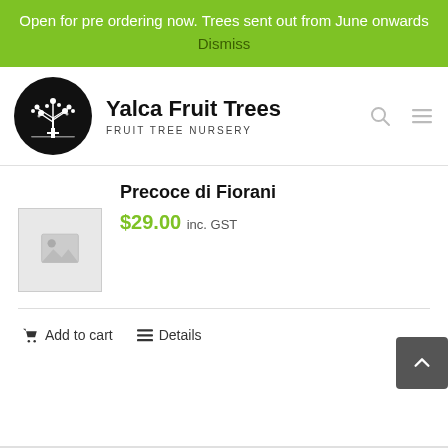Open for pre ordering now. Trees sent out from June onwards Dismiss
[Figure (logo): Yalca Fruit Trees logo — white tree illustration inside a black circle, with bold site name 'Yalca Fruit Trees' and tagline 'FRUIT TREE NURSERY']
Precoce di Fiorani
$29.00 inc. GST
[Figure (photo): Product image placeholder — grey box with image icon]
Add to cart   Details